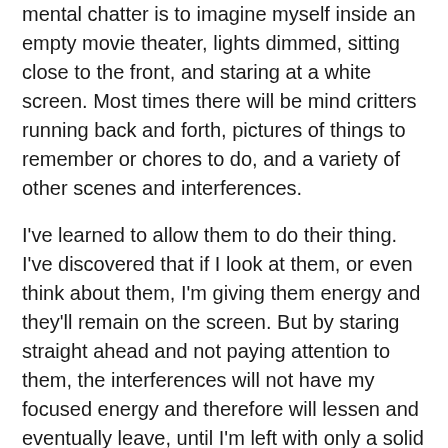One of the easiest ways that I've found to slow down the mental chatter is to imagine myself inside an empty movie theater, lights dimmed, sitting close to the front, and staring at a white screen. Most times there will be mind critters running back and forth, pictures of things to remember or chores to do, and a variety of other scenes and interferences.
I've learned to allow them to do their thing. I've discovered that if I look at them, or even think about them, I'm giving them energy and they'll remain on the screen. But by staring straight ahead and not paying attention to them, the interferences will not have my focused energy and therefore will lessen and eventually leave, until I'm left with only a solid blue or purple colored screen. My ego brain is now quieted. My mind is blank and ready to accept dowsing input.
There are other simple methods to clear the mind as well, such as listening to environmental tapes, looking at the